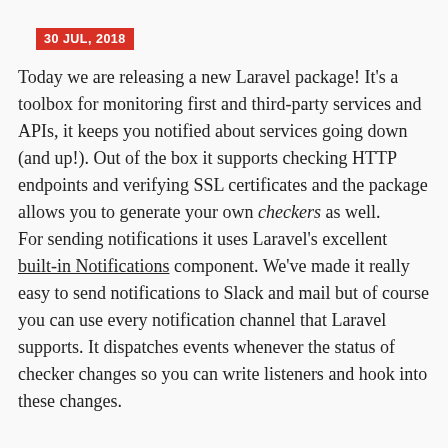30 JUL, 2018
Today we are releasing a new Laravel package! It's a toolbox for monitoring first and third-party services and APIs, it keeps you notified about services going down (and up!). Out of the box it supports checking HTTP endpoints and verifying SSL certificates and the package allows you to generate your own checkers as well.
For sending notifications it uses Laravel's excellent built-in Notifications component. We've made it really easy to send notifications to Slack and mail but of course you can use every notification channel that Laravel supports. It dispatches events whenever the status of checker changes so you can write listeners and hook into these changes.